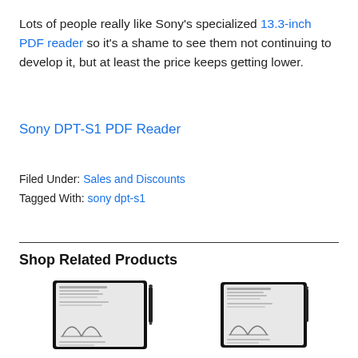Lots of people really like Sony's specialized 13.3-inch PDF reader so it's a shame to see them not continuing to develop it, but at least the price keeps getting lower.
Sony DPT-S1 PDF Reader
Filed Under: Sales and Discounts
Tagged With: sony dpt-s1
Shop Related Products
[Figure (photo): Two Sony DPT-S1 PDF reader devices shown side by side as product images]
[Figure (photo): Second Sony DPT-S1 PDF reader device product image]